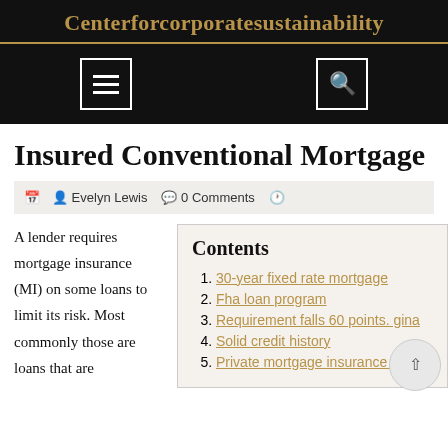Centerforcorporatesustainability
[Figure (screenshot): Navigation bar with hamburger menu icon and search icon on black background]
Insured Conventional Mortgage
Evelyn Lewis   0 Comments
A lender requires mortgage insurance (MI) on some loans to limit its risk. Most commonly those are loans that are
Contents
30-year fixed rate mortgage
Fha loan program
Requirement falls 60 points. gina
Solid credit history
Private mortgage insurance policy